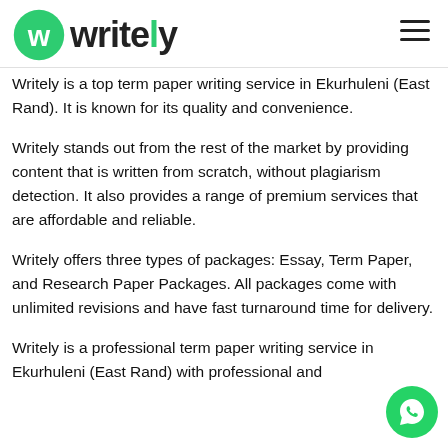writely
Writely is a top term paper writing service in Ekurhuleni (East Rand). It is known for its quality and convenience.
Writely stands out from the rest of the market by providing content that is written from scratch, without plagiarism detection. It also provides a range of premium services that are affordable and reliable.
Writely offers three types of packages: Essay, Term Paper, and Research Paper Packages. All packages come with unlimited revisions and have fast turnaround time for delivery.
Writely is a professional term paper writing service in Ekurhuleni (East Rand) with professional and